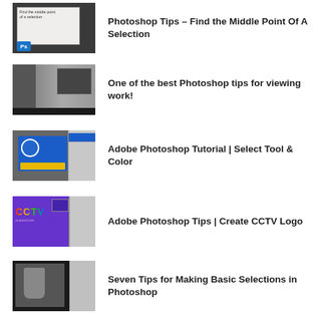[Figure (screenshot): Photoshop tutorial thumbnail showing Find the middle point of a selection text and Ps logo]
Photoshop Tips – Find the Middle Point Of A Selection
[Figure (screenshot): Photoshop tutorial thumbnail showing a woman being edited in Photoshop]
One of the best Photoshop tips for viewing work!
[Figure (screenshot): Adobe Photoshop tutorial thumbnail showing Select Tool & Color with colorful TV station logo]
Adobe Photoshop Tutorial | Select Tool & Color
[Figure (screenshot): Adobe Photoshop Tips thumbnail showing CCTV logo creation with colorful CCTV text on purple background]
Adobe Photoshop Tips | Create CCTV Logo
[Figure (screenshot): Photoshop tutorial thumbnail showing a foot/shoe on gray background for basic selections]
Seven Tips for Making Basic Selections in Photoshop